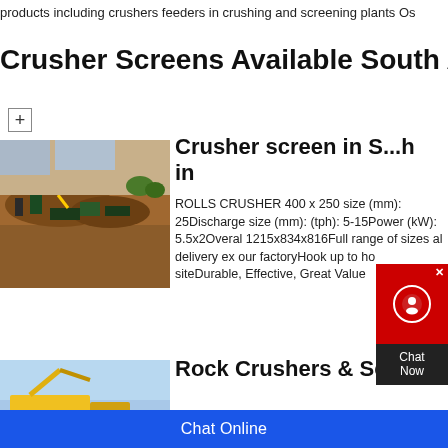products including crushers feeders in crushing and screening plants Os
Crusher Screens Available South A
+
[Figure (photo): Aerial view of a mining crusher and screening plant operation with excavators and large piles of earth]
Crusher screen in S... in
ROLLS CRUSHER 400 x 250 size (mm): 25Discharge size (mm): (tph): 5-15Power (kW): 5.5x2Overal 1215x834x816Full range of sizes al delivery ex our factoryHook up to ho siteDurable, Effective, Great Value
[Figure (photo): Yellow rock crusher or screening machine at a quarry site with blue sky background]
Rock Crushers & Scree
Chat Online